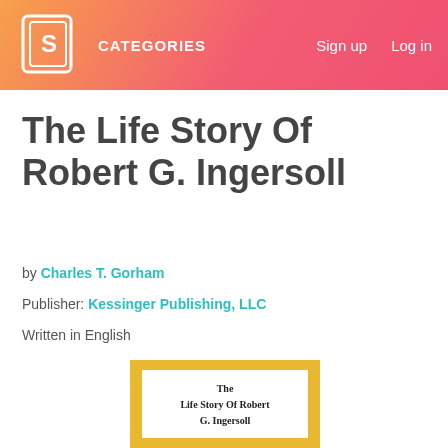CATEGORIES   Sign up   Log in
The Life Story Of Robert G. Ingersoll
by Charles T. Gorham
Publisher: Kessinger Publishing, LLC
Written in English
[Figure (illustration): Book cover of 'The Life Story Of Robert G. Ingersoll' with yellow/gold border and white center, showing the book title text]